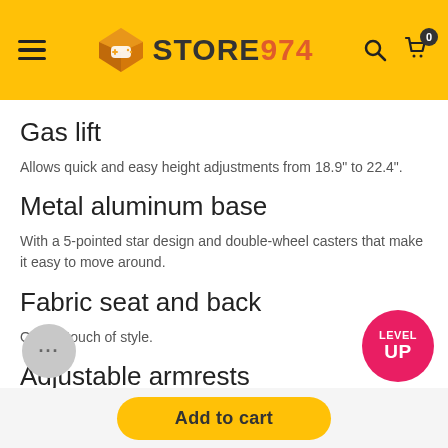STORE974 — navigation header with hamburger menu, logo, search and cart icons
Gas lift
Allows quick and easy height adjustments from 18.9" to 22.4".
Metal aluminum base
With a 5-pointed star design and double-wheel casters that make it easy to move around.
Fabric seat and back
Offer a touch of style.
Adjustable armrests
...customize the height to minimize shoul...